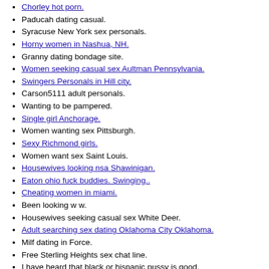Chorley hot porn.
Paducah dating casual.
Syracuse New York sex personals.
Horny women in Nashua, NH.
Granny dating bondage site.
Women seeking casual sex Aultman Pennsylvania.
Swingers Personals in Hill city.
Carson5111 adult personals.
Wanting to be pampered.
Single girl Anchorage.
Women wanting sex Pittsburgh.
Sexy Richmond girls.
Women want sex Saint Louis.
Housewives looking nsa Shawinigan.
Eaton ohio fuck buddies. Swinging..
Cheating women in miami.
Been looking w w.
Housewives seeking casual sex White Deer.
Adult searching sex dating Oklahoma City Oklahoma.
Milf dating in Force.
Free Sterling Heights sex chat line.
I have heard that black or hispanic pussy is good.
Married dating in saint augusta minnesota